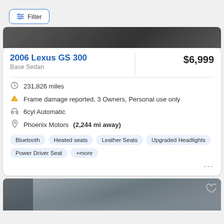[Figure (screenshot): Filter button UI element with horizontal sliders icon]
[Figure (photo): Partial view of a car interior/exterior — dark image cropped at top]
2006 Lexus GS 300
$6,999
Base Sedan
231,826 miles
Frame damage reported, 3 Owners, Personal use only
6cyl Automatic
Phoenix Motors (2,244 mi away)
Bluetooth  Heated seats  Leather Seats  Upgraded Headlights  Power Driver Seat  +more
[Figure (photo): Car photo showing silver/gray sedan in a parking lot, partial front and hood visible]